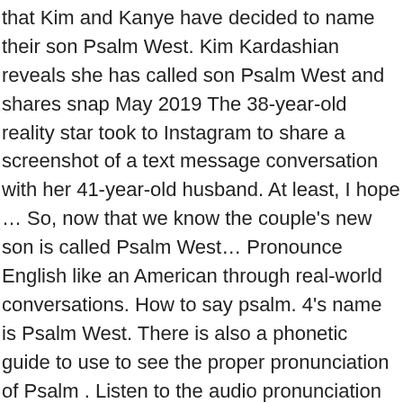that Kim and Kanye have decided to name their son Psalm West. Kim Kardashian reveals she has called son Psalm West and shares snap May 2019 The 38-year-old reality star took to Instagram to share a screenshot of a text message conversation with her 41-year-old husband. At least, I hope … So, now that we know the couple's new son is called Psalm West… Pronounce English like an American through real-world conversations. How to say psalm. 4's name is Psalm West. There is also a phonetic guide to use to see the proper pronunciation of Psalm . Listen to the audio pronunciation of Psalm (Terl Bryant album) on pronouncekiwi. Psalms of Asaph - The Psalms of Asaph are the twelve psalms numbered as 50 and 73–83 in the Masoretic Text, and as 49 and 72–82 in the Septuagint. 11 June 2019, 09:36 | Updated: 11 June 2019,